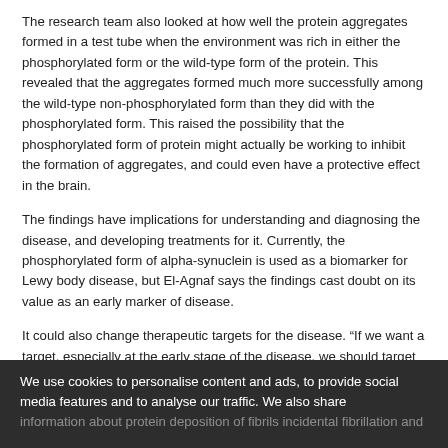The research team also looked at how well the protein aggregates formed in a test tube when the environment was rich in either the phosphorylated form or the wild-type form of the protein. This revealed that the aggregates formed much more successfully among the wild-type non-phosphorylated form than they did with the phosphorylated form. This raised the possibility that the phosphorylated form of protein might actually be working to inhibit the formation of aggregates, and could even have a protective effect in the brain.
The findings have implications for understanding and diagnosing the disease, and developing treatments for it. Currently, the phosphorylated form of alpha-synuclein is used as a biomarker for Lewy body disease, but El-Agnaf says the findings cast doubt on its value as an early marker of disease.
It could also change therapeutic targets for the disease. “If we want a target, especially at the early stage of the disease, we should target the non-phosphorylated form of the protein… as that may be the pathogenic toxic species,” says El-Agnaf.
doi:10.1038/nmiddleeast.2022.19
We use cookies to personalise content and ads, to provide social media features and to analyse our traffic. We also share information about protein deposition of fibrils incidental fibrillation and